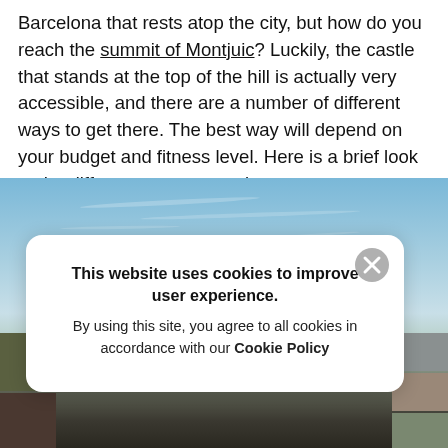Barcelona that rests atop the city, but how do you reach the summit of Montjuic? Luckily, the castle that stands at the top of the hill is actually very accessible, and there are a number of different ways to get there. The best way will depend on your budget and fitness level. Here is a brief look at the different transport options.
[Figure (photo): Aerial/elevated photograph of Barcelona showing blue sky with thin cloud streaks in the upper portion, and city rooftops visible in the lower portion of the image.]
This website uses cookies to improve user experience. By using this site, you agree to all cookies in accordance with our Cookie Policy